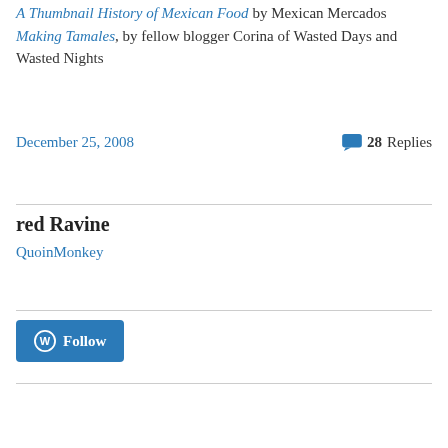A Thumbnail History of Mexican Food by Mexican Mercados
Making Tamales, by fellow blogger Corina of Wasted Days and Wasted Nights
December 25, 2008
28 Replies
red Ravine
QuoinMonkey
Follow